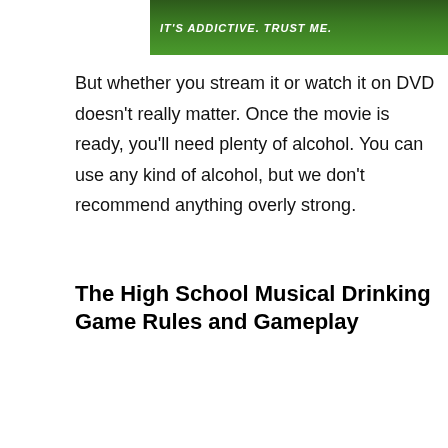[Figure (photo): Green chalkboard background with white bold italic text reading 'IT'S ADDICTIVE. TRUST ME.' and a red ball on the right side]
But whether you stream it or watch it on DVD doesn't really matter. Once the movie is ready, you'll need plenty of alcohol. You can use any kind of alcohol, but we don't recommend anything overly strong.
The High School Musical Drinking Game Rules and Gameplay
[Figure (photo): High School Musical logo with large golden marquee-style letters spelling HIGH SCHOOL against a red curtain background]